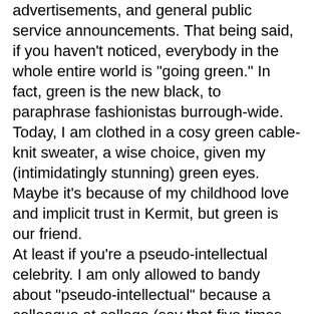advertisements, and general public service announcements. That being said, if you haven't noticed, everybody in the whole entire world is "going green." In fact, green is the new black, to paraphrase fashionistas burrough-wide. Today, I am clothed in a cosy green cable-knit sweater, a wise choice, given my (intimidatingly stunning) green eyes. Maybe it's because of my childhood love and implicit trust in Kermit, but green is our friend.
At least if you're a pseudo-intellectual celebrity. I am only allowed to bandy about "pseudo-intellectual" because a colleague at college (say that five times fast) once referred to me as his "favorite female pseudo-intellectual." That one backhanded compliment spurred more academic achievement than was probably proportionate.
So not only do celebrities chain themselves to trees (though I do intensely dislike urban sprawl), but now a quick glance at your local circular's headlines will reveal that Wal-Mart, Ford, and McDonald's are all "going green."
Caveat: I fully support any company that will reduce its waste, become more efficient, and will easily aid consumers in make wise purchases by providing products that will save us from living atop landfills within the next decade.